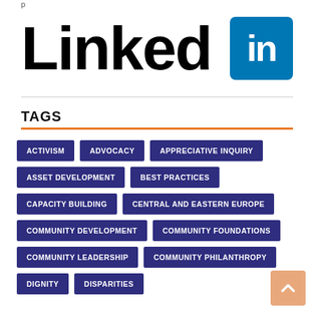[Figure (logo): LinkedIn logo with wordmark and blue square icon with 'in']
TAGS
ACTIVISM
ADVOCACY
APPRECIATIVE INQUIRY
ASSET DEVELOPMENT
BEST PRACTICES
CAPACITY BUILDING
CENTRAL AND EASTERN EUROPE
COMMUNITY DEVELOPMENT
COMMUNITY FOUNDATIONS
COMMUNITY LEADERSHIP
COMMUNITY PHILANTHROPY
DIGNITY
DISPARITIES